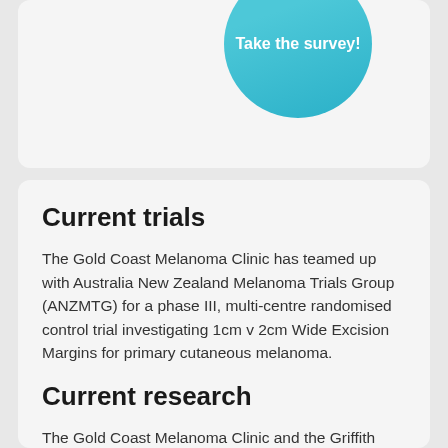[Figure (other): Teal circular button with white bold text reading 'Take the survey!' on a light grey card background]
Current trials
The Gold Coast Melanoma Clinic has teamed up with Australia New Zealand Melanoma Trials Group (ANZMTG) for a phase III, multi-centre randomised control trial investigating 1cm v 2cm Wide Excision Margins for primary cutaneous melanoma.
Current research
The Gold Coast Melanoma Clinic and the Griffith University have